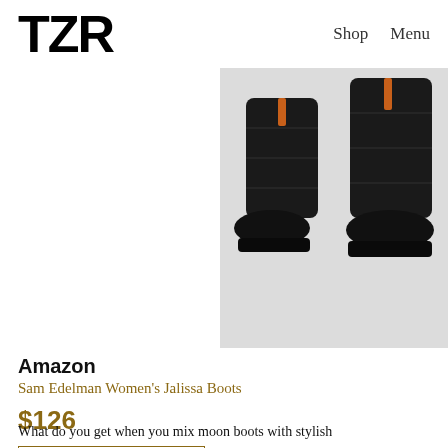TZR  Shop  Menu
[Figure (photo): Two black leather combat/moon boots with orange zipper pulls, displayed on a light grey background. The boots feature chunky lug soles and quilted-style paneling.]
Amazon
Sam Edelman Women's Jalissa Boots
$126
See On Amazon →
What do you get when you mix moon boots with stylish